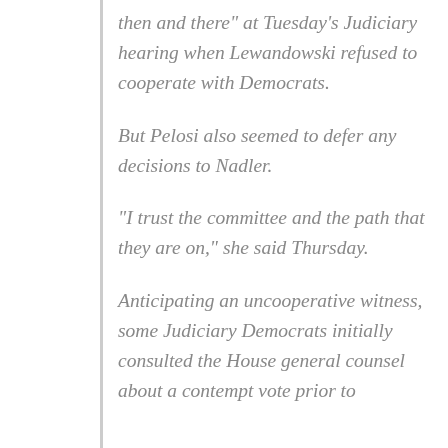then and there" at Tuesday's Judiciary hearing when Lewandowski refused to cooperate with Democrats.
But Pelosi also seemed to defer any decisions to Nadler.
“I trust the committee and the path that they are on,” she said Thursday.
Anticipating an uncooperative witness, some Judiciary Democrats initially consulted the House general counsel about a contempt vote prior to